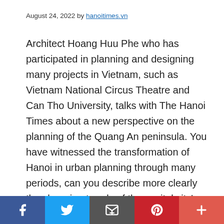August 24, 2022 by hanoitimes.vn
Architect Hoang Huu Phe who has participated in planning and designing many projects in Vietnam, such as Vietnam National Circus Theatre and Can Tho University, talks with The Hanoi Times about a new perspective on the planning of the Quang An peninsula. You have witnessed the transformation of Hanoi in urban planning through many periods, can you describe more clearly the changing trends of the capital city's urban area during the past time? In my opinion, the transformation of Hanoi in terms of urban planning is the top concern. In 2008, when I actively participated in the debate on
[Figure (infographic): Social media share bar with Facebook (dark blue), Twitter (light blue), Email (dark gray), Pinterest (red), and More (coral/orange-red) buttons with white icons]